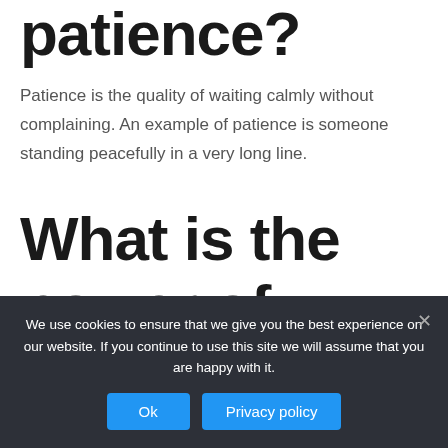patience?
Patience is the quality of waiting calmly without complaining. An example of patience is someone standing peacefully in a very long line.
What is the power of patience?
Or, you can learn to transform frustration with patience. Patience doesn’t mean passivity or resignation, but
We use cookies to ensure that we give you the best experience on our website. If you continue to use this site we will assume that you are happy with it.